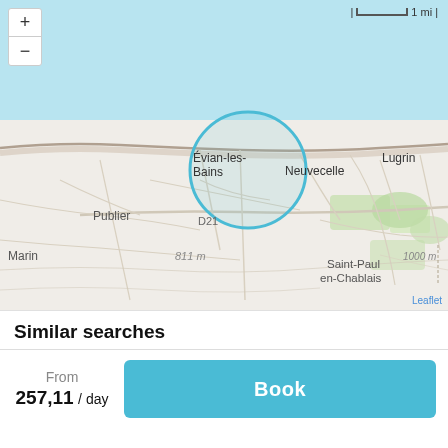[Figure (map): Street map showing Évian-les-Bains area in France, with a teal circle highlighting the town center near the lake shore. Visible place names: Évian-les-Bains, Neuvecelle, Lugrin, Publier, D21, 811 m, Saint-Paul en-Chablais, Marin, 1000 m. Map scale shows 1 mi. Leaflet attribution visible.]
Similar searches
From 257,11 / day
Book